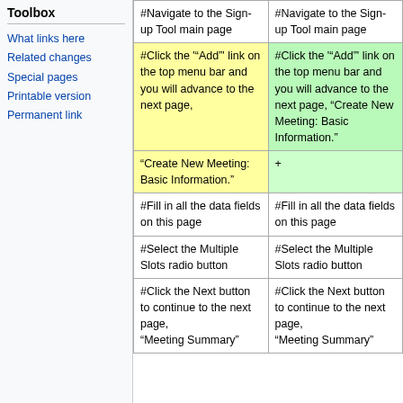Toolbox
What links here
Related changes
Special pages
Printable version
Permanent link
|  |  |
| --- | --- |
| #Navigate to the Sign-up Tool main page | #Navigate to the Sign-up Tool main page |
| #Click the '"Add"' link on the top menu bar and you will advance to the next page, | #Click the '"Add"' link on the top menu bar and you will advance to the next page, "Create New Meeting: Basic Information." |
| "Create New Meeting: Basic Information." | + |
| #Fill in all the data fields on this page | #Fill in all the data fields on this page |
| #Select the Multiple Slots radio button | #Select the Multiple Slots radio button |
| #Click the Next button to continue to the next page, "Meeting Summary" | #Click the Next button to continue to the next page, "Meeting Summary" |